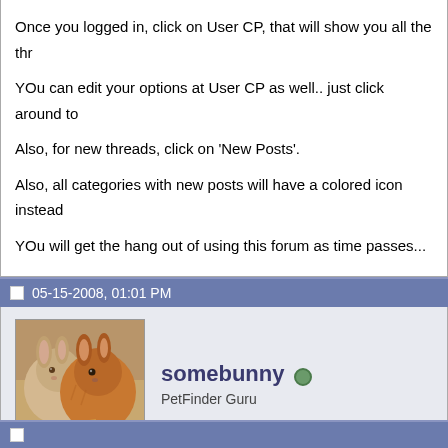Once you logged in, click on User CP, that will show you all the thr
YOu can edit your options at User CP as well.. just click around to
Also, for new threads, click on 'New Posts'.
Also, all categories with new posts will have a colored icon instead
YOu will get the hang out of using this forum as time passes...
05-15-2008, 01:01 PM
[Figure (photo): Avatar image of two rabbits/guinea pigs close together]
somebunny  PetFinder Guru
Re: Any bugs or suggestions?
i keep getting subscribed automatically to all threads that i visit, ev
anyone else experiencing this?